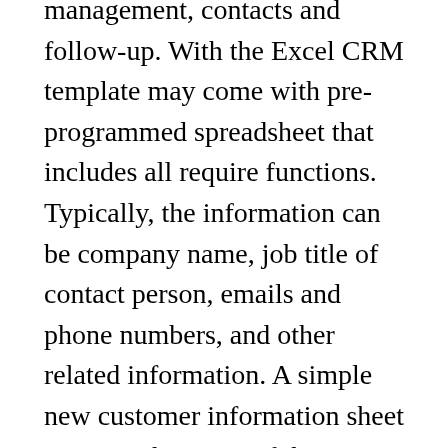management, contacts and follow-up. With the Excel CRM template may come with pre-programmed spreadsheet that includes all require functions. Typically, the information can be company name, job title of contact person, emails and phone numbers, and other related information. A simple new customer information sheet contains the name of the customer of the company, his permanent and the communication address, his occupation, his current age, his identification number provided by the government and the contact details. Interviewing is how I can ask people about their worries and fears, etc. Tracking sales is also an important part of CRM. The